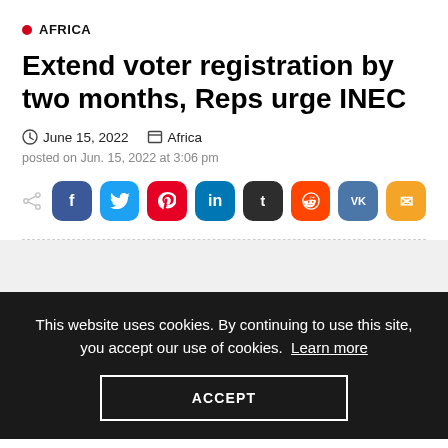AFRICA
Extend voter registration by two months, Reps urge INEC
June 15, 2022   Africa
posted on Jun. 15, 2022 at 3:06 pm
[Figure (infographic): Social share buttons: Facebook, Twitter, Pinterest, LinkedIn, Tumblr, Reddit, VK, Email]
This website uses cookies. By continuing to use this site, you accept our use of cookies.  Learn more
ACCEPT